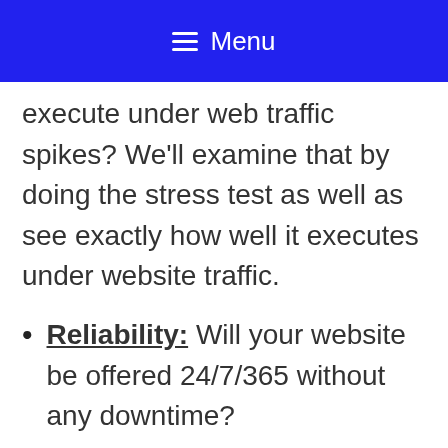Menu
execute under web traffic spikes? We'll examine that by doing the stress test as well as see exactly how well it executes under website traffic.
Reliability: Will your website be offered 24/7/365 without any downtime?
Consumer Support: Can you